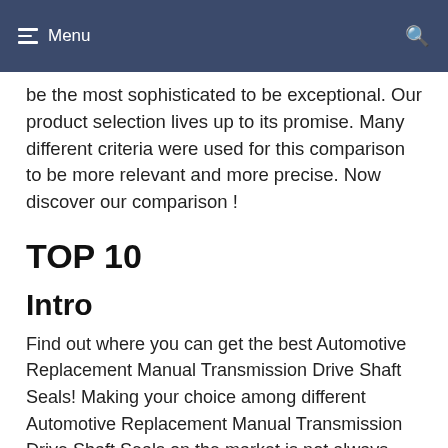Menu
be the most sophisticated to be exceptional. Our product selection lives up to its promise. Many different criteria were used for this comparison to be more relevant and more precise. Now discover our comparison !
TOP 10
Intro
Find out where you can get the best Automotive Replacement Manual Transmission Drive Shaft Seals! Making your choice among different Automotive Replacement Manual Transmission Drive Shaft Seals on the market is not always easy. It can also turn into a daunting task